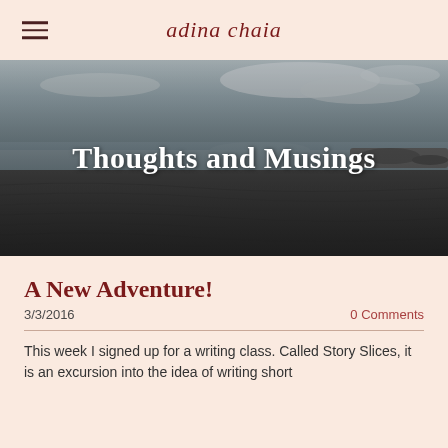adina chaia
[Figure (photo): Overhead beach/coastal landscape photo showing dark sand with ripple patterns, ocean water, and a cloudy sky. Grayscale/muted tones. Overlaid with white text 'Thoughts and Musings'.]
Thoughts and Musings
A New Adventure!
3/3/2016
0 Comments
This week I signed up for a writing class. Called Story Slices, it is an excursion into the idea of writing short